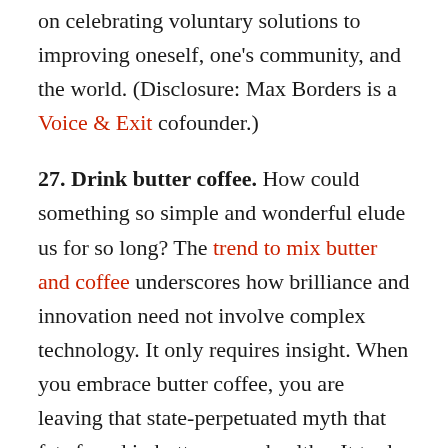on celebrating voluntary solutions to improving oneself, one's community, and the world. (Disclosure: Max Borders is a Voice & Exit cofounder.)
27. Drink butter coffee. How could something so simple and wonderful elude us for so long? The trend to mix butter and coffee underscores how brilliance and innovation need not involve complex technology. It only requires insight. When you embrace butter coffee, you are leaving that state-perpetuated myth that fats found in butter are unhealthy. It took a peer-to-peer